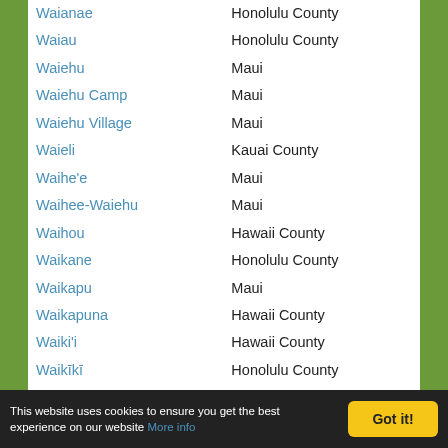| Place | County |
| --- | --- |
| Waianae | Honolulu County |
| Waiau | Honolulu County |
| Waiehu | Maui |
| Waiehu Camp | Maui |
| Waiehu Village | Maui |
| Waieli | Kauai County |
| Waihe'e | Maui |
| Waihee-Waiehu | Maui |
| Waihou | Hawaii County |
| Waikane | Honolulu County |
| Waikapu | Maui |
| Waikapuna | Hawaii County |
| Waiki'i | Hawaii County |
| Waikīkī | Honolulu County |
| Waikoloa | Hawaii County |
| Waikoloa Village | Hawaii County |
| Waikui | Hawaii County |
| Wailea | Maui |
| Wailea-Makena | Maui |
| Wailua | Kauai County |
This website uses cookies to ensure you get the best experience on our website More info  Got it!